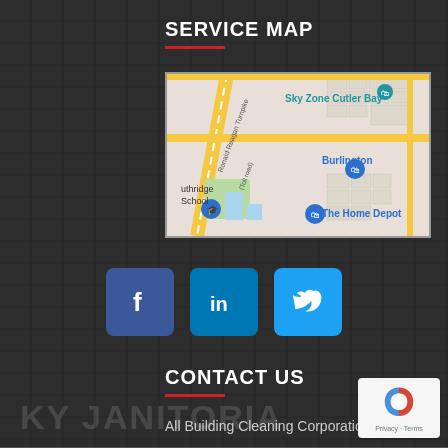SERVICE MAP
[Figure (map): Google Maps view showing Cutler Bay area with landmarks: Sky Zone Cutler Bay, Burlington, The Home Depot, and Ronald Reagan Turnpike (Toll road)]
[Figure (infographic): Social media icons: Facebook (blue square with f), LinkedIn (teal square with in), Twitter (light blue square with bird icon)]
CONTACT US
All Building Cleaning Corporation